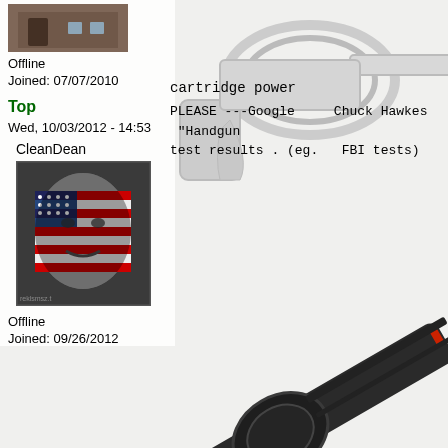[Figure (photo): Background image of revolvers/handguns on white background]
[Figure (photo): Small avatar image of a building/house at top left]
Offline
Joined: 07/07/2010
Top
Wed, 10/03/2012 - 14:53
CleanDean
[Figure (photo): Avatar image of a person's face with American flag overlay]
Offline
Joined: 09/26/2012
cartridge power
PLEASE ---Google    Chuck Hawkes  "Handgun test results . (eg.   FBI tests)